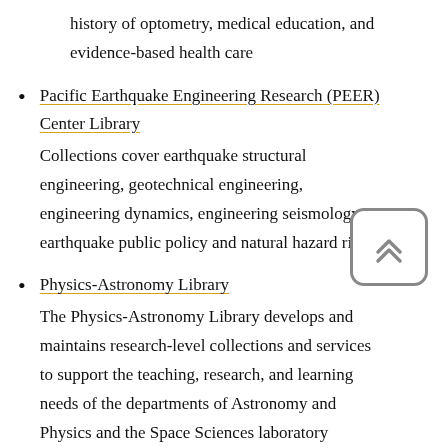history of optometry, medical education, and evidence-based health care
Pacific Earthquake Engineering Research (PEER) Center Library — Collections cover earthquake structural engineering, geotechnical engineering, engineering dynamics, engineering seismology, earthquake public policy and natural hazard risks
Physics-Astronomy Library — The Physics-Astronomy Library develops and maintains research-level collections and services to support the teaching, research, and learning needs of the departments of Astronomy and Physics and the Space Sciences laboratory